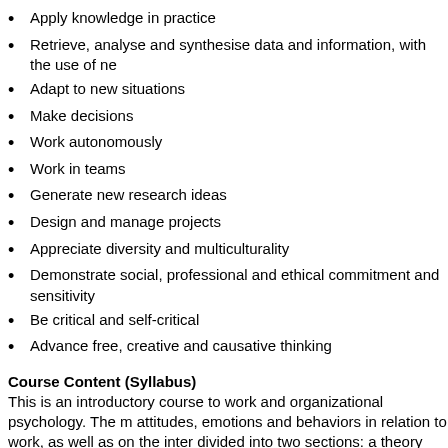Apply knowledge in practice
Retrieve, analyse and synthesise data and information, with the use of ne
Adapt to new situations
Make decisions
Work autonomously
Work in teams
Generate new research ideas
Design and manage projects
Appreciate diversity and multiculturality
Demonstrate social, professional and ethical commitment and sensitivity
Be critical and self-critical
Advance free, creative and causative thinking
Course Content (Syllabus)
This is an introductory course to work and organizational psychology. The m attitudes, emotions and behaviors in relation to work, as well as on the inter divided into two sections: a theory and a practice section.
During the theory section, the following topics are covered:
1) Organizational theories;
2) Organizational design, structure, and culture;
3) Organizational change and resistance to change;